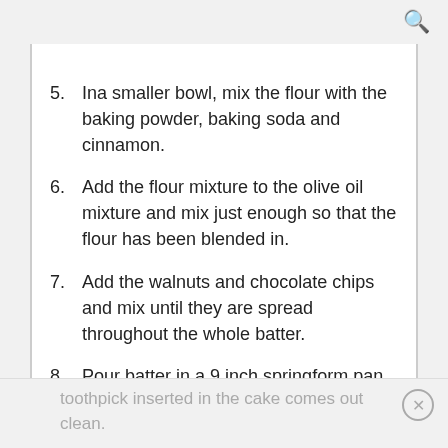Q
5. Ina smaller bowl, mix the flour with the baking powder, baking soda and cinnamon.
6. Add the flour mixture to the olive oil mixture and mix just enough so that the flour has been blended in.
7. Add the walnuts and chocolate chips and mix until they are spread throughout the whole batter.
8. Pour batter in a 9 inch springform pan (in this photo I had used an 8 inch, which was a bit small hence the dome).
9. Bake for about 35-40 minutes until a toothpick inserted in the cake comes out clean.